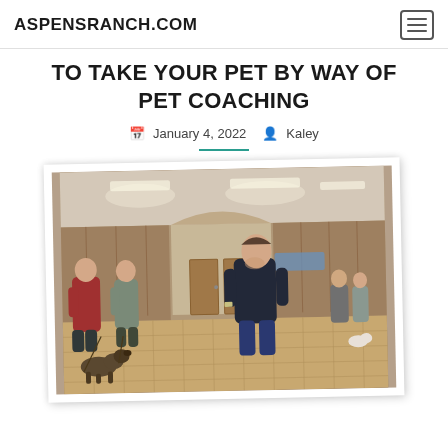ASPENSRANCH.COM
TO TAKE YOUR PET BY WAY OF PET COACHING
January 4, 2022  Kaley
[Figure (photo): Indoor dog training class scene in a large hall with wooden floors. A trainer in dark clothing stands in the center looking down, while several owners with dogs stand around the perimeter of the room.]